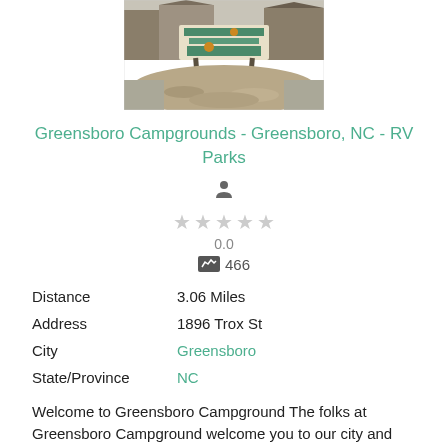[Figure (photo): Entrance sign of Greensboro Campgrounds with landscaping and mulch]
Greensboro Campgrounds - Greensboro, NC - RV Parks
Rating: 0.0 stars, 466 views
| Field | Value |
| --- | --- |
| Distance | 3.06 Miles |
| Address | 1896 Trox St |
| City | Greensboro |
| State/Province | NC |
Welcome to Greensboro Campground The folks at Greensboro Campground welcome you to our city and